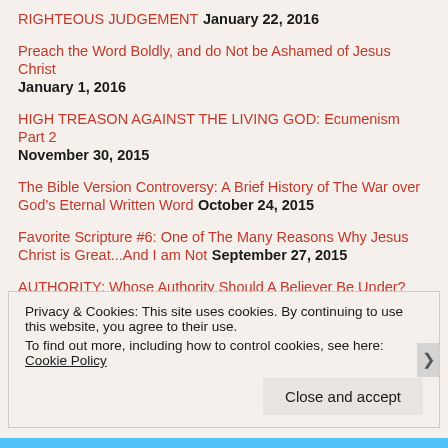RIGHTEOUS JUDGEMENT January 22, 2016
Preach the Word Boldly, and do Not be Ashamed of Jesus Christ January 1, 2016
HIGH TREASON AGAINST THE LIVING GOD: Ecumenism Part 2 November 30, 2015
The Bible Version Controversy: A Brief History of The War over God's Eternal Written Word October 24, 2015
Favorite Scripture #6: One of The Many Reasons Why Jesus Christ is Great...And I am Not September 27, 2015
AUTHORITY: Whose Authority Should A Believer Be Under? July 15, 2015
LIMITED ATONEMENT And UNCONDITIONAL ELECTION: Does Everyone
Privacy & Cookies: This site uses cookies. By continuing to use this website, you agree to their use. To find out more, including how to control cookies, see here: Cookie Policy
Close and accept